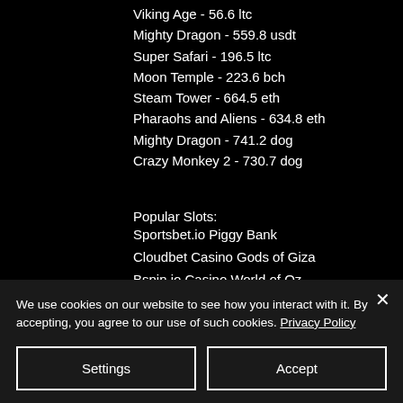Viking Age - 56.6 ltc
Mighty Dragon - 559.8 usdt
Super Safari - 196.5 ltc
Moon Temple - 223.6 bch
Steam Tower - 664.5 eth
Pharaohs and Aliens - 634.8 eth
Mighty Dragon - 741.2 dog
Crazy Monkey 2 - 730.7 dog
Popular Slots:
Sportsbet.io Piggy Bank
Cloudbet Casino Gods of Giza
Bspin.io Casino World of Oz
We use cookies on our website to see how you interact with it. By accepting, you agree to our use of such cookies. Privacy Policy
Settings
Accept